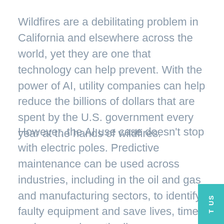Wildfires are a debilitating problem in California and elsewhere across the world, yet they are one that technology can help prevent. With the power of AI, utility companies can help reduce the billions of dollars that are spent by the U.S. government every year at the hands of wildfires.
However, the AI use case doesn't stop with electric poles. Predictive maintenance can be used across industries, including in the oil and gas and manufacturing sectors, to identify faulty equipment and save lives, time and money down the line.